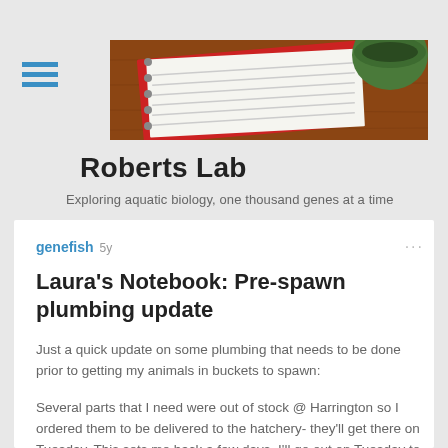[Figure (photo): Header photo of a spiral-bound notebook with lined pages, red cover, and a green mug in the upper right corner, on a wooden surface.]
Roberts Lab
Exploring aquatic biology, one thousand genes at a time
genefish  5y  ···
Laura's Notebook: Pre-spawn plumbing update
Just a quick update on some plumbing that needs to be done prior to getting my animals in buckets to spawn:
Several parts that I need were out of stock @ Harrington so I ordered them to be delivered to the hatchery- they'll get there on Tuesday. This sets me back a few days. I'll go out on Tuesday to do as much